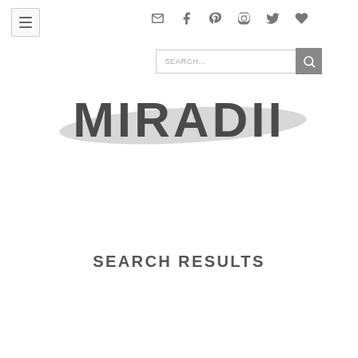MIRADII - menu and social icons header
[Figure (logo): MIRADII brand logo in large gray uppercase letters with a decorative brushstroke element behind the text]
SEARCH RESULTS